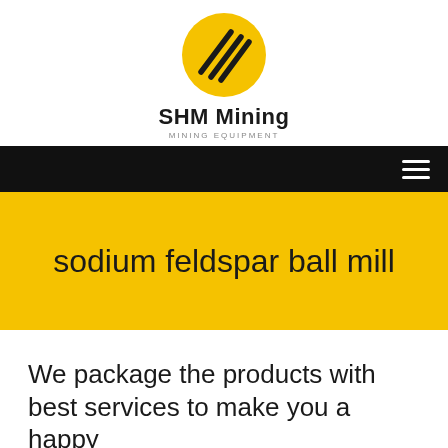[Figure (logo): SHM Mining logo: yellow oval with black diagonal lines, company name 'SHM Mining' in bold below, subtitle 'MINING EQUIPMENT' in small gray caps]
SHM Mining
MINING EQUIPMENT
sodium feldspar ball mill
We package the products with best services to make you a happy